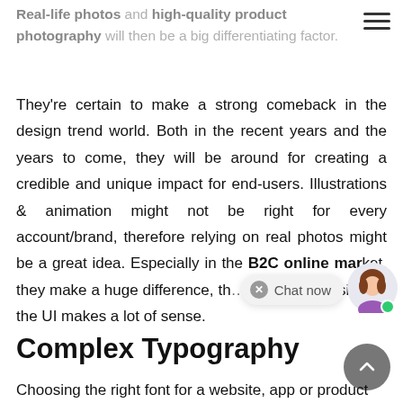Real-life photos and high-quality product photography will then be a big differentiating factor.
They're certain to make a strong comeback in the design trend world. Both in the recent years and the years to come, they will be around for creating a credible and unique impact for end-users. Illustrations & animation might not be right for every account/brand, therefore relying on real photos might be a great idea. Especially in the B2C online market, they make a huge difference, th... in mind, designing the UI makes a lot of sense.
Complex Typography
Choosing the right font for a website, app or product